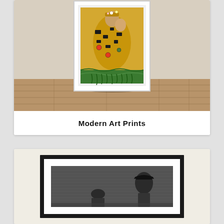[Figure (photo): A framed print of Gustav Klimt's 'The Kiss' painting displayed on a wooden floor against a beige wall. The painting shows two figures embracing, rendered in gold and jewel tones. The artwork is in a white frame.]
Modern Art Prints
[Figure (photo): A framed black and white photograph in a black mat and frame, displayed against a cream/off-white background. The photo appears to show a figure in a hat with a grainy, artistic treatment.]